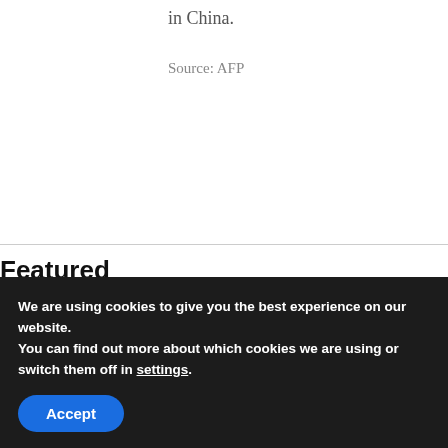in China.
Source: AFP
Featured
[Figure (photo): Three featured article thumbnail images partially visible]
We are using cookies to give you the best experience on our website.
You can find out more about which cookies we are using or switch them off in settings.
Accept